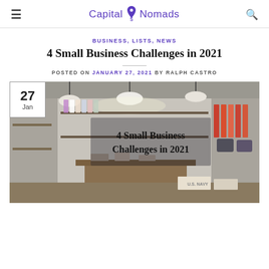Capital Nomads
BUSINESS, LISTS, NEWS
4 Small Business Challenges in 2021
POSTED ON JANUARY 27, 2021 BY RALPH CASTRO
[Figure (photo): Interior of a clothing/retail store with hanging clothes on racks, pendant lights, shelving with bags and items, overlaid with bold text '4 Small Business Challenges in 2021'. A date badge showing '27 Jan' appears in the top-left corner.]